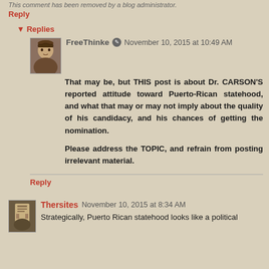This comment has been removed by a blog administrator.
Reply
Replies
FreeThinke  November 10, 2015 at 10:49 AM
That may be, but THIS post is about Dr. CARSON'S reported attitude toward Puerto-Rican statehood, and what that may or may not imply about the quality of his candidacy, and his chances of getting the nomination.

Please address the TOPIC, and refrain from posting irrelevant material.
Reply
Thersites  November 10, 2015 at 8:34 AM
Strategically, Puerto Rican statehood looks like a political